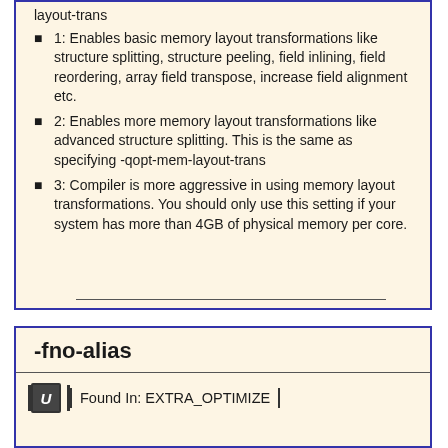layout-trans
1: Enables basic memory layout transformations like structure splitting, structure peeling, field inlining, field reordering, array field transpose, increase field alignment etc.
2: Enables more memory layout transformations like advanced structure splitting. This is the same as specifying -qopt-mem-layout-trans
3: Compiler is more aggressive in using memory layout transformations. You should only use this setting if your system has more than 4GB of physical memory per core.
-fno-alias
Found In: EXTRA_OPTIMIZE